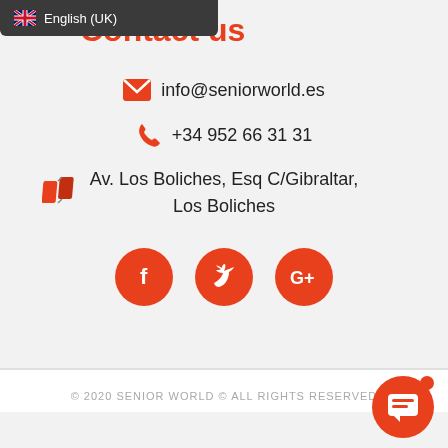English (UK)
Contact us
info@seniorworld.es
+34 952 66 31 31
Av. Los Boliches, Esq C/Gibraltar, Los Boliches
[Figure (other): Social media icons: Facebook, Twitter, Google+]
© 2020 SENIOR WORLD © ALL RIGHTS RESERVED
[Figure (other): Chat button with notification dot in bottom right corner]